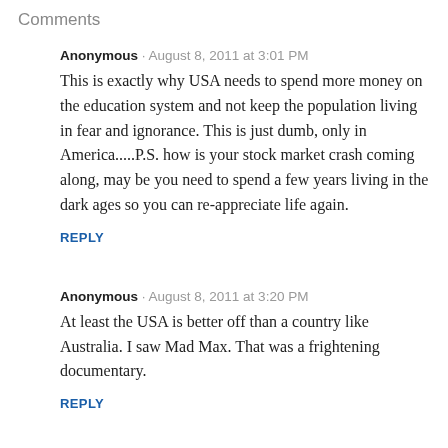Comments
Anonymous · August 8, 2011 at 3:01 PM
This is exactly why USA needs to spend more money on the education system and not keep the population living in fear and ignorance. This is just dumb, only in America.....P.S. how is your stock market crash coming along, may be you need to spend a few years living in the dark ages so you can re-appreciate life again.
REPLY
Anonymous · August 8, 2011 at 3:20 PM
At least the USA is better off than a country like Australia. I saw Mad Max. That was a frightening documentary.
REPLY